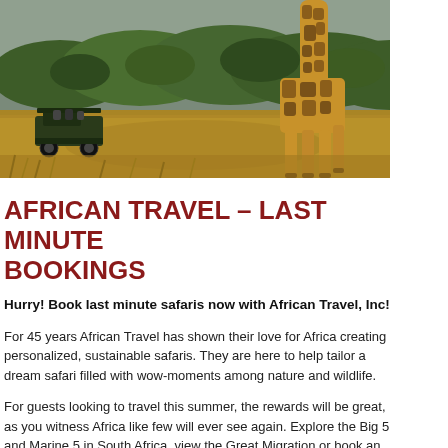[Figure (photo): Safari scene with a giraffe in the foreground on dry savanna grassland, a safari jeep with passengers visible in the middle ground, and lush green trees/hills in the background under a grey sky.]
AFRICAN TRAVEL - LAST MINUTE BOOKINGS
Hurry! Book last minute safaris now with African Travel, Inc!
For 45 years African Travel has shown their love for Africa creating personalized, sustainable safaris. They are here to help tailor a dream safari filled with wow-moments among nature and wildlife.
For guests looking to travel this summer, the rewards will be great, as you witness Africa like few will ever see again. Explore the Big 5 and Marine 5 in South Africa, view the Great Migration or book an extra...